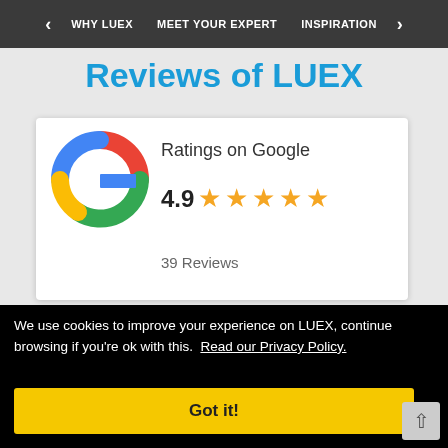WHY LUEX   MEET YOUR EXPERT   INSPIRATION
Reviews of LUEX
[Figure (infographic): Google 'G' logo in red, yellow, green, blue colors followed by 'Ratings on Google' text, rating of 4.9 with five gold stars, and '39 Reviews' text, all on a white card background]
We use cookies to improve your experience on LUEX, continue browsing if you're ok with this.  Read our Privacy Policy.
Got it!
[Figure (logo): Trustpilot logo with green X mark icon and 'trustpilot' text in dark color]